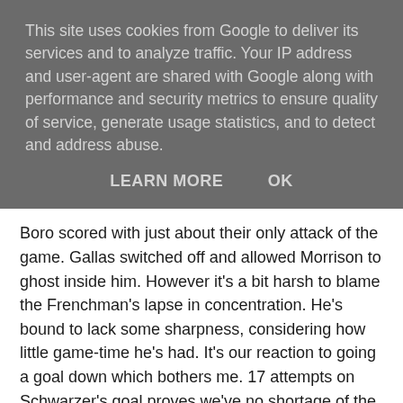This site uses cookies from Google to deliver its services and to analyze traffic. Your IP address and user-agent are shared with Google along with performance and security metrics to ensure quality of service, generate usage statistics, and to detect and address abuse.
LEARN MORE    OK
Boro scored with just about their only attack of the game. Gallas switched off and allowed Morrison to ghost inside him. However it's a bit harsh to blame the Frenchman's lapse in concentration. He's bound to lack some sharpness, considering how little game-time he's had. It's our reaction to going a goal down which bothers me. 17 attempts on Schwarzer's goal proves we've no shortage of the ability required to create chances. But our recent bad form is the harbinger of the lack of belief and confidence that prevents us from capitalising on all our entertaining efforts.
Arsène's excuses won't really wash, as all the top teams' players have been traipsing across the continent for penny-ante Internationals. Obviously highlights can be misleading,